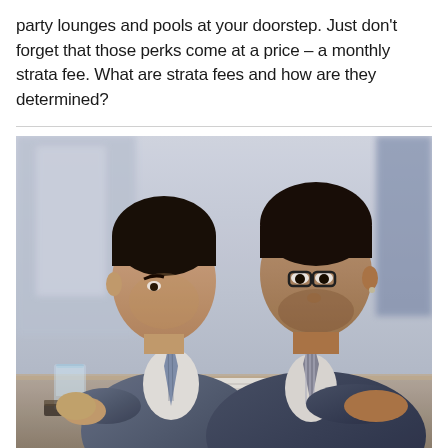party lounges and pools at your doorstep. Just don't forget that those perks come at a price – a monthly strata fee. What are strata fees and how are they determined?
[Figure (photo): Two men in business suits sitting at a table, looking down at documents. One man wears glasses and a striped tie. A glass of water is visible on the left side of the table.]